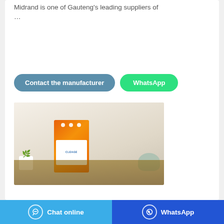Midrand is one of Gauteng's leading suppliers of ...
[Figure (illustration): Two orange laundry detergent packages (Cleage brand) standing on a wooden table surface, with a white plant pot and blue-green laundry basket in the background]
Chat online | WhatsApp